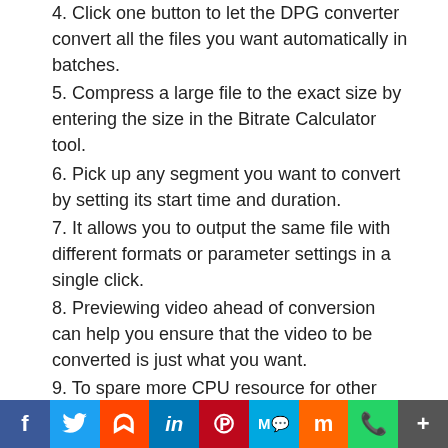4. Click one button to let the DPG converter convert all the files you want automatically in batches.
5. Compress a large file to the exact size by entering the size in the Bitrate Calculator tool.
6. Pick up any segment you want to convert by setting its start time and duration.
7. It allows you to output the same file with different formats or parameter settings in a single click.
8. Previewing video ahead of conversion can help you ensure that the video to be converted is just what you want.
9. To spare more CPU resource for other running applications, you can make the DPG converter run in background.
10. Set an after done action as exit, shut down, hibernate or standby before conversion to make Xilisoft DPG Converter perform the action automatically after
f  Twitter  Reddit  in  Pinterest  MW  Mix  WhatsApp  More